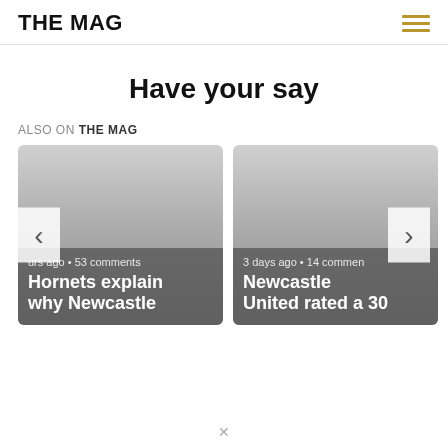THE MAG
Have your say
ALSO ON THE MAG
[Figure (screenshot): Two article preview cards side by side. Left card: '…urs ago • 53 comments' and title 'Hornets explain why Newcastle'. Right card: '3 days ago • 14 commen…' and title 'Newcastle United rated a 30'. Navigation arrows (‹ ›) on left and right sides.]
×